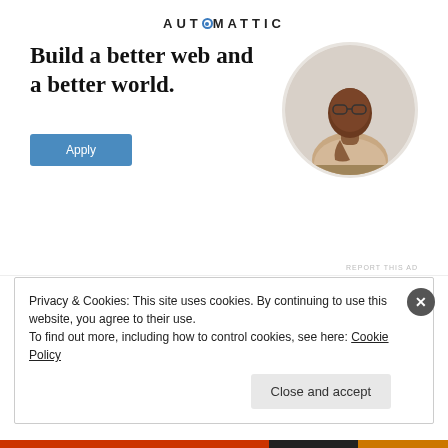[Figure (logo): Automattic logo with stylized O in blue circle]
Build a better web and a better world.
[Figure (photo): Circular portrait of a man thinking, resting chin on hand]
Apply
REPORT THIS AD
January 3, 2018
Leave a Reply
Privacy & Cookies: This site uses cookies. By continuing to use this website, you agree to their use.
To find out more, including how to control cookies, see here: Cookie Policy
Close and accept